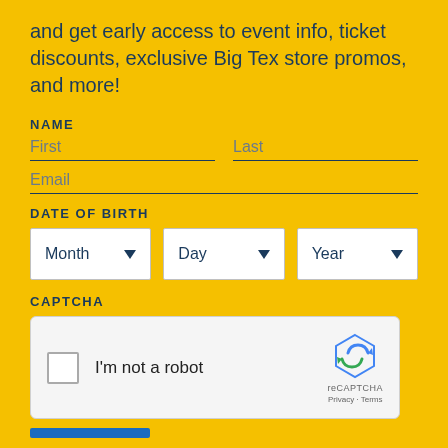and get early access to event info, ticket discounts, exclusive Big Tex store promos, and more!
NAME
First
Last
Email
DATE OF BIRTH
Month
Day
Year
CAPTCHA
[Figure (screenshot): reCAPTCHA widget with checkbox labeled 'I'm not a robot', reCAPTCHA logo, and Privacy/Terms links]